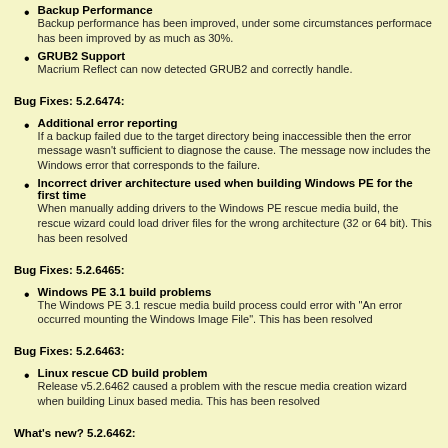Backup Performance - Backup performance has been improved, under some circumstances performace has been improved by as much as 30%.
GRUB2 Support - Macrium Reflect can now detected GRUB2 and correctly handle.
Bug Fixes: 5.2.6474:
Additional error reporting - If a backup failed due to the target directory being inaccessible then the error message wasn't sufficient to diagnose the cause. The message now includes the Windows error that corresponds to the failure.
Incorrect driver architecture used when building Windows PE for the first time - When manually adding drivers to the Windows PE rescue media build, the rescue wizard could load driver files for the wrong architecture (32 or 64 bit). This has been resolved
Bug Fixes: 5.2.6465:
Windows PE 3.1 build problems - The Windows PE 3.1 rescue media build process could error with "An error occurred mounting the Windows Image File". This has been resolved
Bug Fixes: 5.2.6463:
Linux rescue CD build problem - Release v5.2.6462 caused a problem with the rescue media creation wizard when building Linux based media. This has been resolved
What's new? 5.2.6462:
Windows PE 5.0 - Macrium Reflect now includes the option to create Windows PE 5.0 rescue media